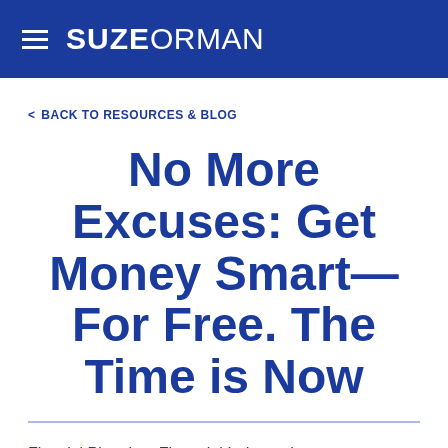SUZEORMAN
< BACK TO RESOURCES & BLOG
No More Excuses: Get Money Smart—For Free. The Time is Now
Finacial Planning, Financial Independence